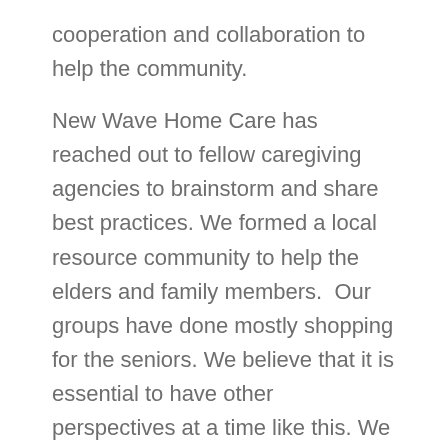cooperation and collaboration to help the community.
New Wave Home Care has reached out to fellow caregiving agencies to brainstorm and share best practices. We formed a local resource community to help the elders and family members.  Our groups have done mostly shopping for the seniors. We believe that it is essential to have other perspectives at a time like this. We are all on the same boat and together we can help find a way to reignite the industry.
During this crisis, NWHC's goal is to be